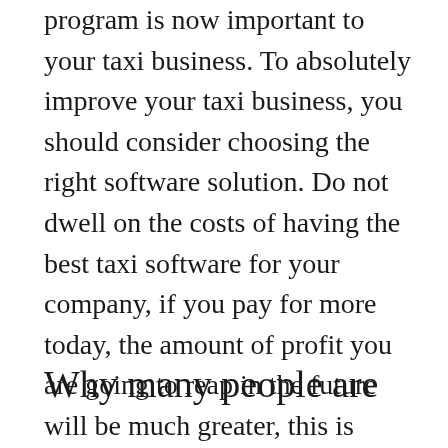program is now important to your taxi business. To absolutely improve your taxi business, you should consider choosing the right software solution. Do not dwell on the costs of having the best taxi software for your company, if you pay for more today, the amount of profit you are going to reap in the future will be much greater, this is because expensive taxi apps are efficient and are really built for this type of business.
Why many people are